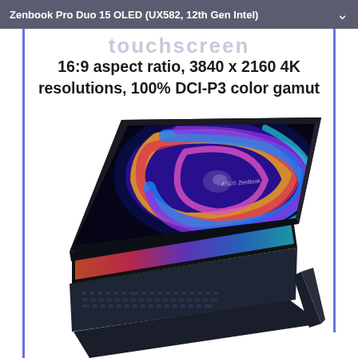Zenbook Pro Duo 15 OLED (UX582, 12th Gen Intel)
touchscreen
16:9 aspect ratio, 3840 x 2160 4K resolutions, 100% DCI-P3 color gamut
[Figure (photo): ASUS Zenbook Pro Duo 15 OLED laptop open at an angle showing a vivid swirling colorful wallpaper on the main display, with a secondary ScreenPad Plus display below, sitting on a kickstand, dark keyboard visible at bottom]